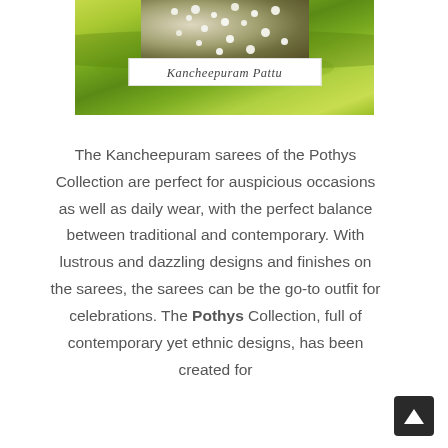[Figure (photo): Photo of Kancheepuram Pattu saree fabric — green silk textile with floral decoration on top portion, and a white caption box reading 'Kancheepuram Pattu' in italic script.]
Kancheepuram Pattu
The Kancheepuram sarees of the Pothys Collection are perfect for auspicious occasions as well as daily wear, with the perfect balance between traditional and contemporary. With lustrous and dazzling designs and finishes on the sarees, the sarees can be the go-to outfit for celebrations. The Pothys Collection, full of contemporary yet ethnic designs, has been created for